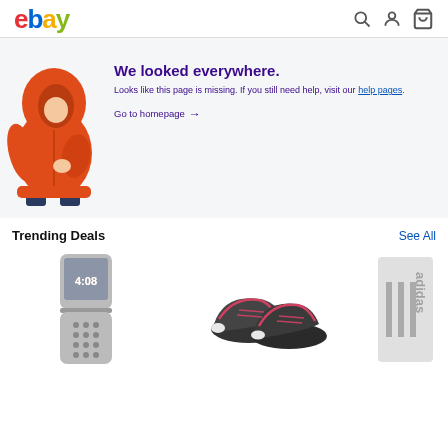ebay
[Figure (illustration): Child wearing an orange hooded puffer jacket, face hidden inside hood, wearing dark jeans]
We looked everywhere.
Looks like this page is missing. If you still need help, visit our help pages. Go to homepage →
Trending Deals
See All
[Figure (photo): A flip cell phone with screen showing 4:08]
[Figure (photo): A pair of dark gray and pink ASICS running shoes]
[Figure (photo): Adidas branded item partially visible]